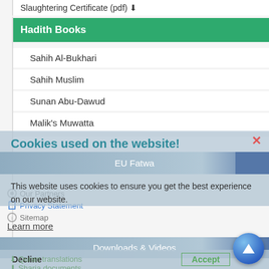Slaughtering Certificate (pdf)
Hadith Books
Sahih Al-Bukhari
Sahih Muslim
Sunan Abu-Dawud
Malik's Muwatta
Cookies used on the website!
EU Fatwa
This website uses cookies to ensure you get the best experience on our website.
Our Partners
Privacy Statement
Sitemap
Learn more
Downloads & Videos
Quran translations
Sharia documents
All documents